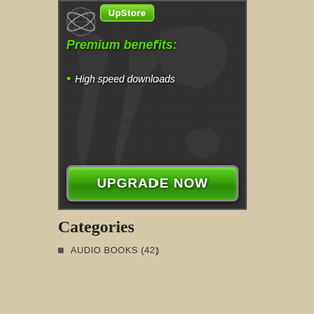[Figure (screenshot): Advertisement banner for Upstore premium service showing dark background with world map, green 'Upstore' button at top, 'Premium benefits:' heading in green italic, bullet point 'High speed downloads' in white italic, and large green 'UPGRADE NOW' button at bottom]
Categories
AUDIO BOOKS (42)